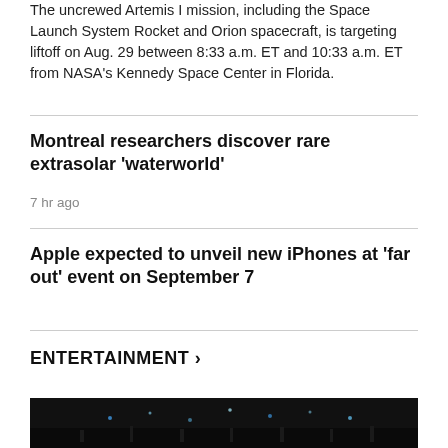The uncrewed Artemis I mission, including the Space Launch System Rocket and Orion spacecraft, is targeting liftoff on Aug. 29 between 8:33 a.m. ET and 10:33 a.m. ET from NASA's Kennedy Space Center in Florida.
Montreal researchers discover rare extrasolar 'waterworld'
7 hr ago
Apple expected to unveil new iPhones at 'far out' event on September 7
ENTERTAINMENT >
[Figure (photo): Dark concert or performance photo with light points visible]